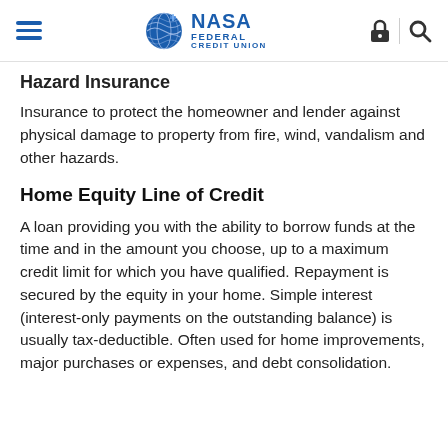NASA Federal Credit Union navigation header
Hazard Insurance
Insurance to protect the homeowner and lender against physical damage to property from fire, wind, vandalism and other hazards.
Home Equity Line of Credit
A loan providing you with the ability to borrow funds at the time and in the amount you choose, up to a maximum credit limit for which you have qualified. Repayment is secured by the equity in your home. Simple interest (interest-only payments on the outstanding balance) is usually tax-deductible. Often used for home improvements, major purchases or expenses, and debt consolidation.